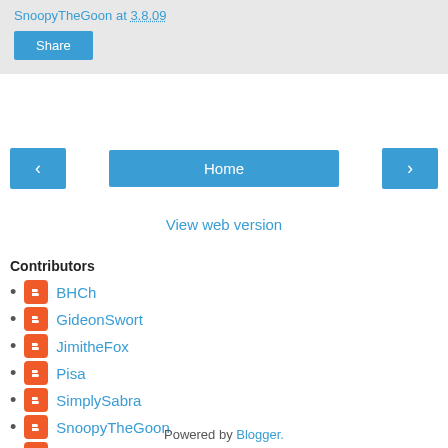SnoopyTheGoon at 3.8.09
Share
< Home >
View web version
Contributors
BHCh
GideonSwort
JimitheFox
Pisa
SimplySabra
SnoopyTheGoon
TheMaiden
Powered by Blogger.